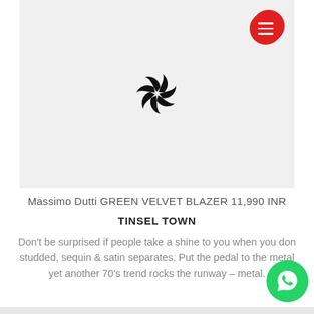[Figure (illustration): Light gray placeholder image area with a black pinwheel/star logo in the center, and a red circular hamburger menu button in the top right corner]
Massimo Dutti GREEN VELVET BLAZER 11,990 INR
TINSEL TOWN
Don't be surprised if people take a shine to you when you don studded, sequin & satin separates. Put the pedal to the metal yet another 70's trend rocks the runway – metal.